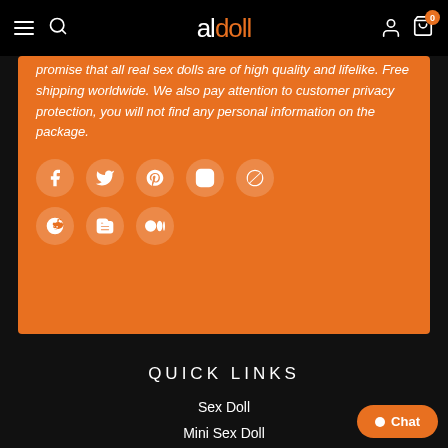aldoll — navigation bar with hamburger, search, logo, account, and cart (0)
promise that all real sex dolls are of high quality and lifelike. Free shipping worldwide. We also pay attention to customer privacy protection, you will not find any personal information on the package.
[Figure (infographic): Social media icons in circular buttons: Facebook, Twitter, Pinterest, Instagram, WordPress, Reddit, Blogger, Medium]
QUICK LINKS
Sex Doll
Mini Sex Doll
Sex Doll Torso